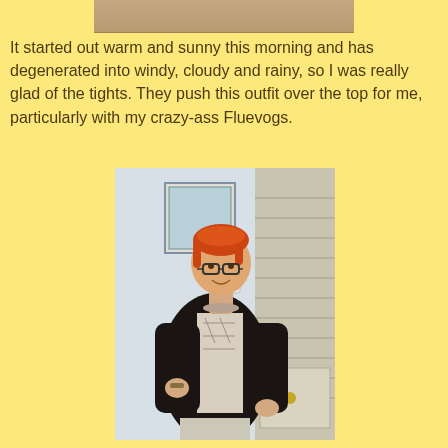[Figure (photo): Partial top photo visible at top of page, cropped brown/tan image]
It started out warm and sunny this morning and has degenerated into windy, cloudy and rainy, so I was really glad of the tights. They push this outfit over the top for me, particularly with my crazy-ass Fluevogs.
[Figure (photo): Woman with red hair and glasses wearing a black cardigan over a patterned beige/cream top, standing in a room with a closet door and artwork on wall behind her.]